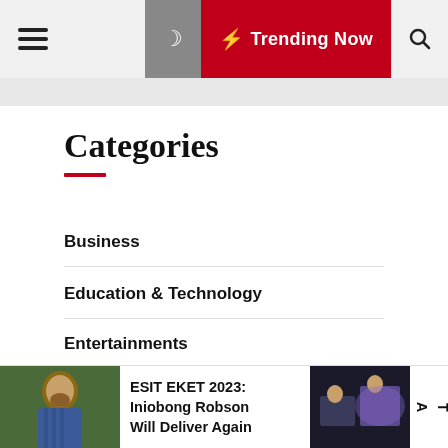☰  [moon] ⚡ Trending Now [search]
Categories
Business
Education & Technology
Entertainments
Gossip
ESIT EKET 2023: Iniobong Robson Will Deliver Again
A T